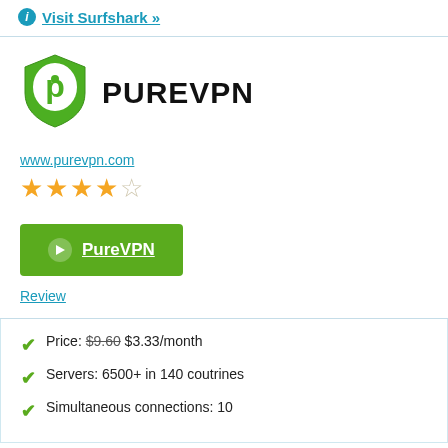Visit Surfshark »
[Figure (logo): PureVPN shield logo in green with white P letter inside]
PUREVPN
www.purevpn.com
4 out of 5 stars rating
PureVPN (button)
Review
Price: $9.60 $3.33/month
Servers: 6500+ in 140 coutrines
Simultaneous connections: 10